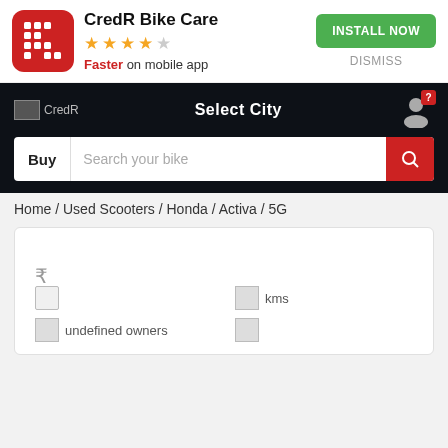[Figure (screenshot): CredR Bike Care app install banner with red app icon, 4-star rating, Faster on mobile app text, INSTALL NOW green button and DISMISS link]
[Figure (screenshot): CredR website navigation bar with logo, Select City text, and user icon with question badge]
[Figure (screenshot): Search bar with Buy label and Search your bike placeholder, red search button]
Home / Used Scooters / Honda / Activa / 5G
[Figure (screenshot): Product listing card showing rupee symbol, calendar icon, kms label, undefined owners label with placeholder images]